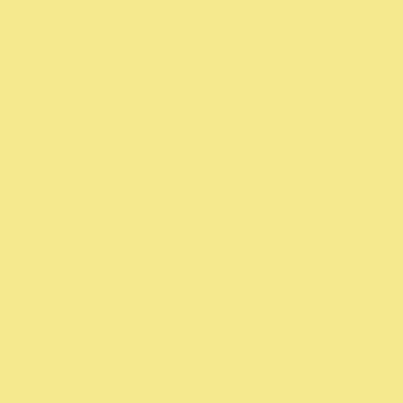4S native resolution...10x13" at 240.
Posted by: Charles Maclauchlan | Monday, 17 October
"f/111 and be there?" --Paddy C
f/128? f/256?
The iPhone is more like "f/2.4 and a
And no one pays any attention to the... Probably a tourist or something.
I saw someone taking snapshots with... joked that with a cloth and a tripod i... camera. I shouldn't make jokes like t
Posted by: Kevin Purcell | Tuesday, 18 October 2011 a
The only thing desirable about an ap... life before it is thrown in the bin (no... (obsolete = 6 months old).